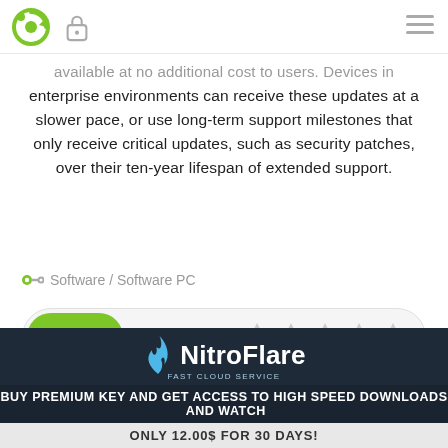[Logo] [Lock icon] [Hamburger menu]
available at no additional cost to users. Devices in enterprise environments can receive these updates at a slower pace, or use long-term support milestones that only receive critical updates, such as security patches, over their ten-year lifespan of extended support.
Software / Software PC
[Figure (other): Green pill button with three dots and a star rating row (5 empty stars) on a light grey rounded rectangle]
voska89
0
[Figure (logo): NitroFlare Fast Cloud Service banner with blue flame logo, white text, buy premium CTA]
BUY PREMIUM KEY AND GET ACCESS TO HIGH SPEED DOWNLOADS  AND WATCH
ONLY 12.00$ FOR 30 DAYS!